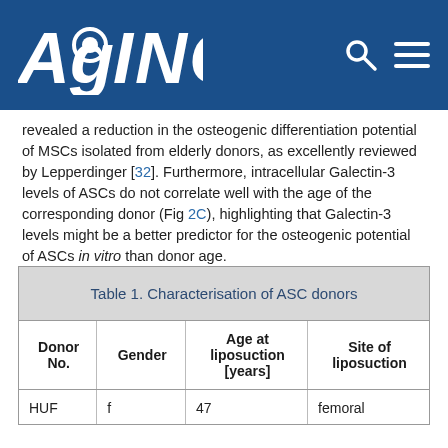AGING
revealed a reduction in the osteogenic differentiation potential of MSCs isolated from elderly donors, as excellently reviewed by Lepperdinger [32]. Furthermore, intracellular Galectin-3 levels of ASCs do not correlate well with the age of the corresponding donor (Fig 2C), highlighting that Galectin-3 levels might be a better predictor for the osteogenic potential of ASCs in vitro than donor age.
| Donor No. | Gender | Age at liposuction [years] | Site of liposuction |
| --- | --- | --- | --- |
| HUF | f | 47 | femoral |